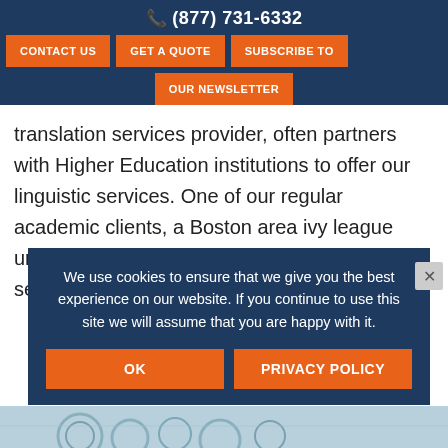(877) 731-6332
CONTACT US
GET A QUOTE
SUBSCRIBE TO OUR NEWSLETTER
translation services provider, often partners with Higher Education institutions to offer our linguistic services. One of our regular academic clients, a Boston area ivy league university, requests our conference interpreting services for
We use cookies to ensure that we give you the best experience on our website. If you continue to use this site we will assume that you are happy with it.
OK
PRIVACY POLICY